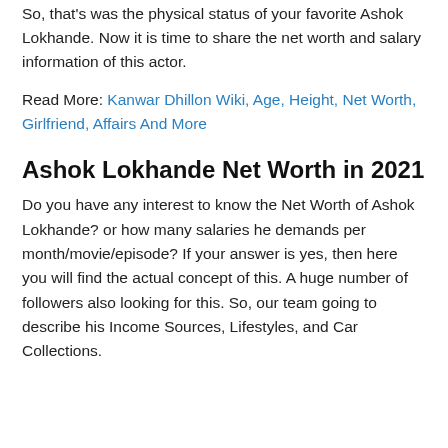So, that's was the physical status of your favorite Ashok Lokhande. Now it is time to share the net worth and salary information of this actor.
Read More: Kanwar Dhillon Wiki, Age, Height, Net Worth, Girlfriend, Affairs And More
Ashok Lokhande Net Worth in 2021
Do you have any interest to know the Net Worth of Ashok Lokhande? or how many salaries he demands per month/movie/episode? If your answer is yes, then here you will find the actual concept of this. A huge number of followers also looking for this. So, our team going to describe his Income Sources, Lifestyles, and Car Collections.